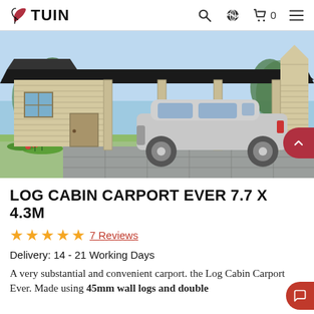TUIN (logo/navigation bar with search, globe, cart 0, and menu icons)
[Figure (photo): A large wooden log cabin carport structure with a black pitched roof. A silver SUV/car is parked under the open carport section. The cabin has a small window on the left side. Background shows blue sky and green trees.]
LOG CABIN CARPORT EVER 7.7 X 4.3M
★★★★★  7 Reviews
Delivery: 14 - 21 Working Days
A very substantial and convenient carport. the Log Cabin Carport Ever. Made using 45mm wall logs and double